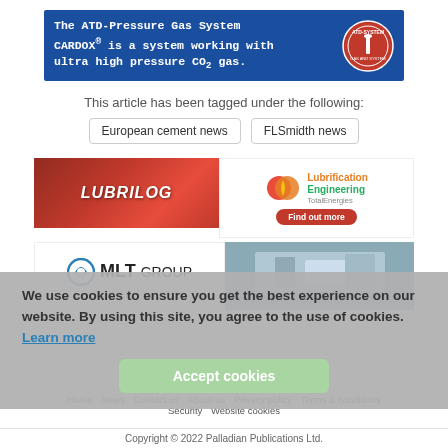[Figure (infographic): ATD-System Cardox banner: blue background with white bold text and circular red ATD-System logo on the right]
This article has been tagged under the following:
European cement news
FLSmidth news
[Figure (logo): Lubrilog advertisement: red background with white italic LUBRILOG text]
[Figure (logo): TotalEnergies Lubrification Engineering advertisement with Find out more button]
[Figure (logo): MLT Group - Conveyor Solutions Expert logo]
[Figure (photo): Industrial conveyor or machinery photo in grey/blue tones]
We use cookies to ensure you get the best experience on our website. By using this site, you agree to the use of cookies. Learn more
Accept cookies
Home   News   Contact us   About us   Privacy policy   Terms & conditions   Security   Website cookies
Copyright © 2022 Palladian Publications Ltd.